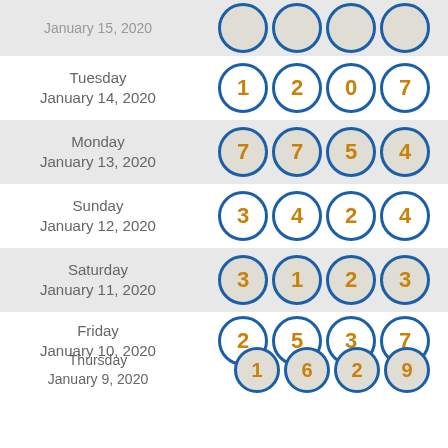| Date | Numbers |
| --- | --- |
| Tuesday January 14, 2020 | 1 2 0 7 |
| Monday January 13, 2020 | 7 7 5 4 |
| Sunday January 12, 2020 | 3 4 2 4 |
| Saturday January 11, 2020 | 3 1 2 3 |
| Friday January 10, 2020 | 2 5 3 7 |
| Thursday January 9, 2020 | 1 6 2 9 |
| Wednesday January 8, 2020 | 2 3 9 8 |